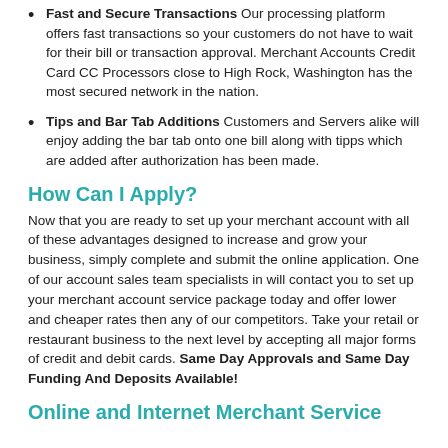Fast and Secure Transactions Our processing platform offers fast transactions so your customers do not have to wait for their bill or transaction approval. Merchant Accounts Credit Card CC Processors close to High Rock, Washington has the most secured network in the nation.
Tips and Bar Tab Additions Customers and Servers alike will enjoy adding the bar tab onto one bill along with tipps which are added after authorization has been made.
How Can I Apply?
Now that you are ready to set up your merchant account with all of these advantages designed to increase and grow your business, simply complete and submit the online application. One of our account sales team specialists in will contact you to set up your merchant account service package today and offer lower and cheaper rates then any of our competitors. Take your retail or restaurant business to the next level by accepting all major forms of credit and debit cards. Same Day Approvals and Same Day Funding And Deposits Available!
Online and Internet Merchant Service